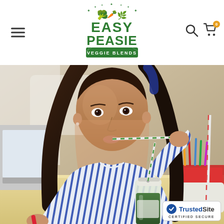Easy Peasie Veggie Blends — navigation header with logo, hamburger menu, search and cart icons
[Figure (photo): A young girl in a blue and white striped long-sleeve shirt drinking from a green straw in a glass milk bottle containing a green veggie smoothie, sitting at a table with a laptop and colored pencils in the background]
[Figure (logo): TrustedSite CERTIFIED SECURE badge in bottom right corner]